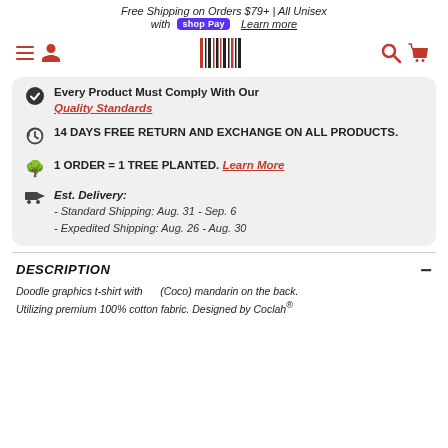Free Shipping on Orders $79+ | All Unisex with shop Pay Learn more
[Figure (logo): Website navigation bar with hamburger menu, user icon, barcode-style logo, search and basket icons]
Every Product Must Comply With Our Quality Standards
14 DAYS FREE RETURN AND EXCHANGE ON ALL PRODUCTS.
1 ORDER = 1 TREE PLANTED. Learn More
Est. Delivery:
- Standard Shipping: Aug. 31 - Sep. 6
- Expedited Shipping: Aug. 26 - Aug. 30
DESCRIPTION
Doodle graphics t-shirt with (Coco) mandarin on the back. Utilizing premium 100% cotton fabric. Designed by Coclah®